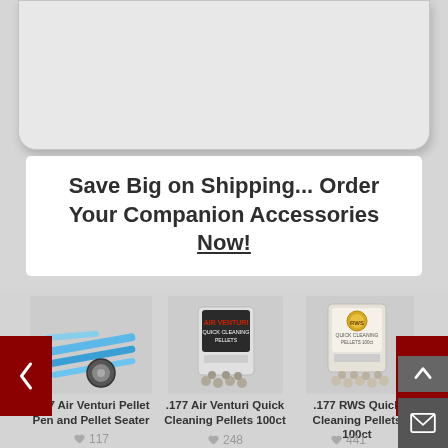[Figure (screenshot): Top of a product card area, partially cropped, showing a white rounded rectangle card on a gray background]
Save Big on Shipping... Order Your Companion Accessories Now!
[Figure (photo): .177 Air Venturi Pellet Pen and Pellet Seater product image showing blue pen tools and accessories]
.177 Air Venturi Pellet Pen and Pellet Seater
117
[Figure (photo): .177 Air Venturi Quick Cleaning Pellets 100ct product image showing blister pack with gray pellets]
.177 Air Venturi Quick Cleaning Pellets 100ct
248
[Figure (photo): .177 RWS Quick Cleaning Pellets 100ct product image showing blister pack]
.177 RWS Quick Cleaning Pellets 100ct
441